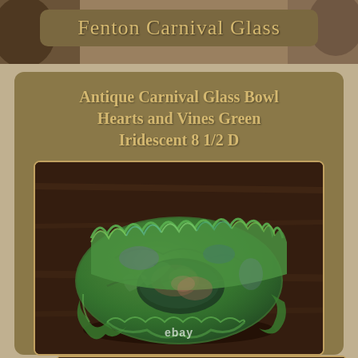Fenton Carnival Glass
Antique Carnival Glass Bowl Hearts and Vines Green Iridescent 8 1/2 D
[Figure (photo): Antique green iridescent carnival glass bowl with ruffled edges and hearts and vines pattern, photographed on a dark wooden surface. eBay watermark visible in lower center.]
[Figure (photo): Partial thumbnail of another view of the carnival glass bowl, visible at the bottom of the page.]